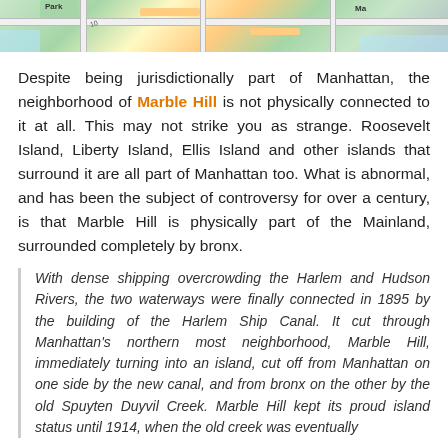[Figure (map): Partial view of a map showing a neighborhood area, with roads, green spaces, and map labels visible at the top of the page.]
Despite being jurisdictionally part of Manhattan, the neighborhood of Marble Hill is not physically connected to it at all. This may not strike you as strange. Roosevelt Island, Liberty Island, Ellis Island and other islands that surround it are all part of Manhattan too. What is abnormal, and has been the subject of controversy for over a century, is that Marble Hill is physically part of the Mainland, surrounded completely by bronx.
With dense shipping overcrowding the Harlem and Hudson Rivers, the two waterways were finally connected in 1895 by the building of the Harlem Ship Canal. It cut through Manhattan's northern most neighborhood, Marble Hill, immediately turning into an island, cut off from Manhattan on one side by the new canal, and from bronx on the other by the old Spuyten Duyvil Creek. Marble Hill kept its proud island status until 1914, when the old creek was eventually filled in, attaching it directly to the bronx, while still remaining part of Manhattan.